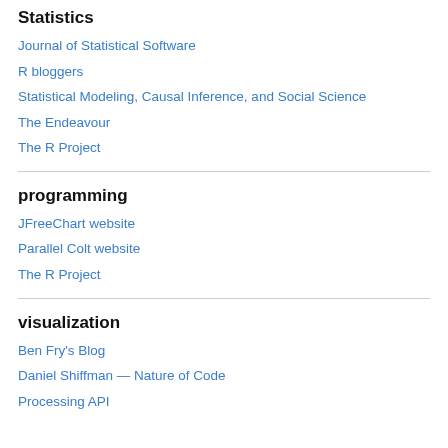Statistics
Journal of Statistical Software
R bloggers
Statistical Modeling, Causal Inference, and Social Science
The Endeavour
The R Project
programming
JFreeChart website
Parallel Colt website
The R Project
visualization
Ben Fry's Blog
Daniel Shiffman — Nature of Code
Processing API